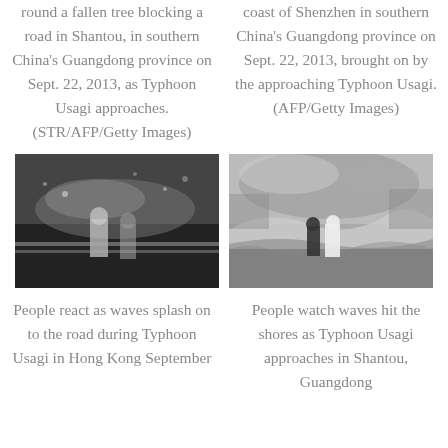round a fallen tree blocking a road in Shantou, in southern China's Guangdong province on Sept. 22, 2013, as Typhoon Usagi approaches. (STR/AFP/Getty Images)
coast of Shenzhen in southern China's Guangdong province on Sept. 22, 2013, brought on by the approaching Typhoon Usagi. (AFP/Getty Images)
[Figure (photo): People reacting as waves splash on road during Typhoon Usagi, black and white photo]
[Figure (photo): People watching waves hit shores as Typhoon Usagi approaches in Shantou, Guangdong]
People react as waves splash on to the road during Typhoon Usagi in Hong Kong September
People watch waves hit the shores as Typhoon Usagi approaches in Shantou, Guangdong